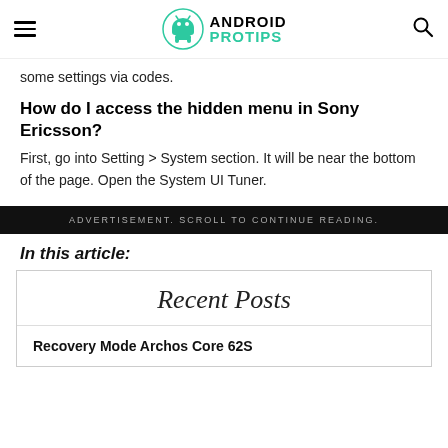Android Pro Tips
some settings via codes.
How do I access the hidden menu in Sony Ericsson?
First, go into Setting > System section. It will be near the bottom of the page. Open the System UI Tuner.
ADVERTISEMENT. SCROLL TO CONTINUE READING.
In this article:
Recent Posts
Recovery Mode Archos Core 62S